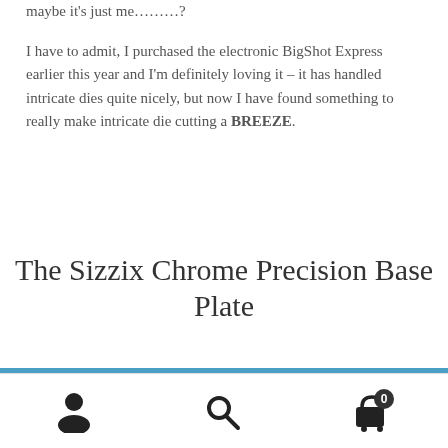maybe it's just me………?
I have to admit, I purchased the electronic BigShot Express earlier this year and I'm definitely loving it – it has handled intricate dies quite nicely, but now I have found something to really make intricate die cutting a BREEZE.
The Sizzix Chrome Precision Base Plate
ⓘ Shop here for handmade cards for all occasions using quality cardstocks, inks, stamps and dies.
Dismiss